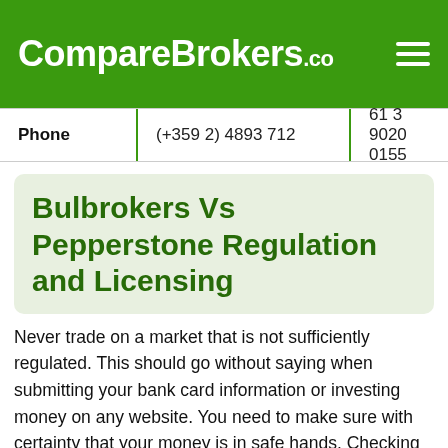CompareBrokers.co
| Phone | (+359 2) 4893 712 | 61 3 9020 0155 |
| --- | --- | --- |
Bulbrokers Vs Pepperstone Regulation and Licensing
Never trade on a market that is not sufficiently regulated. This should go without saying when submitting your bank card information or investing money on any website. You need to make sure with certainty that your money is in safe hands. Checking to see if Bulbrokers and Pepperstone are highly regulated is not a hard task. The more reputable and mainstream brokers will proudly display their regulation certificates on their site and if you cannot see that Bulbrokers or Pepperstone have these in place please be extremely